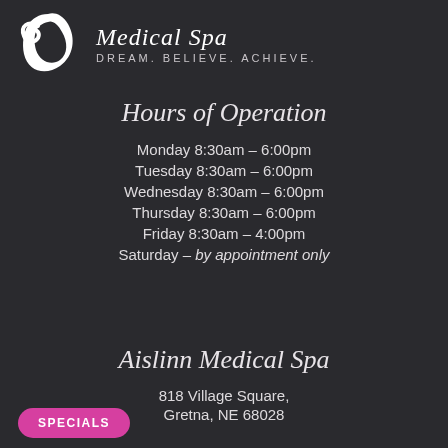[Figure (logo): White swirl/leaf logo icon for Aislinn Medical Spa]
Medical Spa
DREAM. BELIEVE. ACHIEVE.
Hours of Operation
Monday 8:30am – 6:00pm
Tuesday 8:30am – 6:00pm
Wednesday 8:30am – 6:00pm
Thursday 8:30am – 6:00pm
Friday 8:30am – 4:00pm
Saturday – by appointment only
Aislinn Medical Spa
818 Village Square,
Gretna, NE 68028
SPECIALS